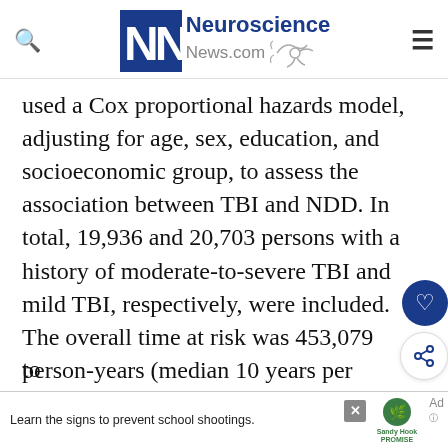Neuroscience News.com
used a Cox proportional hazards model, adjusting for age, sex, education, and socioeconomic group, to assess the association between TBI and NDD. In total, 19,936 and 20,703 persons with a history of moderate-to-severe TBI and mild TBI, respectively, were included. The overall time at risk was 453,079 person-years (median 10 years per person). In total, 3.5% (N = 696) persons in the moderate-to-severe TBI group developed NDD compared to
Learn the signs to prevent school shootings. Sandy Hook Promise